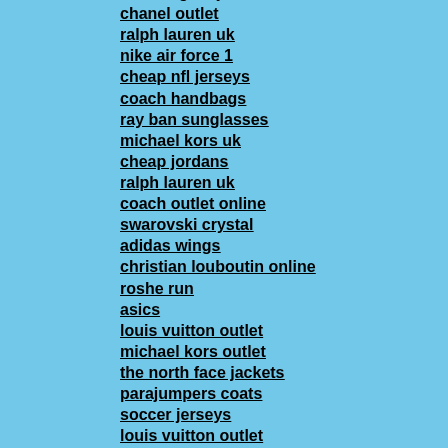true religion jeans
chanel outlet
ralph lauren uk
nike air force 1
cheap nfl jerseys
coach handbags
ray ban sunglasses
michael kors uk
cheap jordans
ralph lauren uk
coach outlet online
swarovski crystal
adidas wings
christian louboutin online
roshe run
asics
louis vuitton outlet
michael kors outlet
the north face jackets
parajumpers coats
soccer jerseys
louis vuitton outlet
true religion jeans
links of london
michael kors factory outlet
true religion outlet
toms shoes